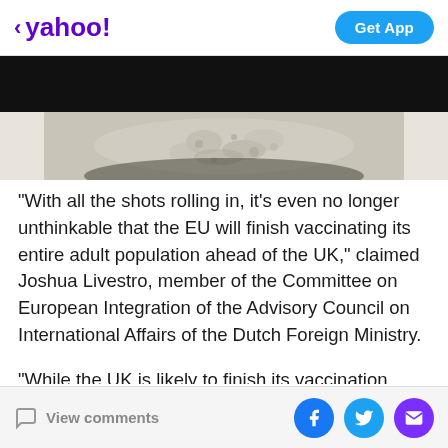< yahoo!   Get App
[Figure (photo): Partial image of a food item (grain/cereal) on a plate, shown against a black background band]
“With all the shots rolling in, it’s even no longer unthinkable that the EU will finish vaccinating its entire adult population ahead of the UK,” claimed Joshua Livestro, member of the Committee on European Integration of the Advisory Council on International Affairs of the Dutch Foreign Ministry.
"While the UK is likely to finish its vaccination marathon crawling on all fours, the EU will be sprinting toward the tape."
View comments